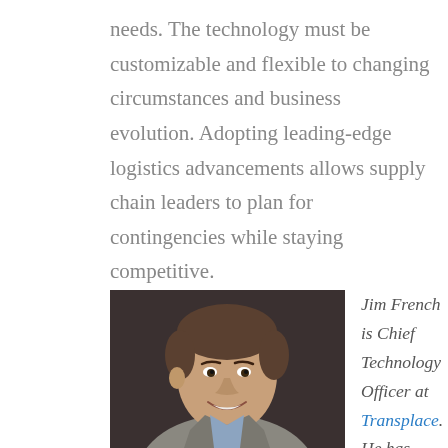needs. The technology must be customizable and flexible to changing circumstances and business evolution. Adopting leading-edge logistics advancements allows supply chain leaders to plan for contingencies while staying competitive.
[Figure (photo): Professional headshot of Jim French, a middle-aged man with short brown hair, smiling, wearing a light grey blazer and blue dress shirt, against a dark brown background.]
Jim French is Chief Technology Officer at Transplace. He has more than three decades of...